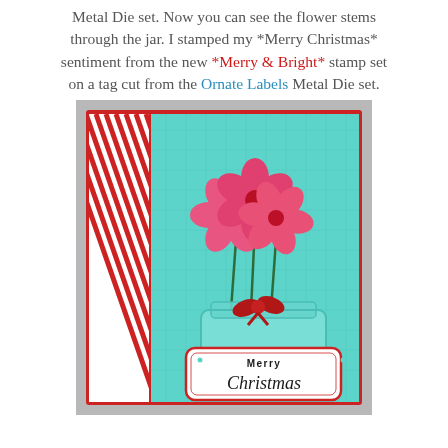Metal Die set. Now you can see the flower stems through the jar. I stamped my *Merry Christmas* sentiment from the new *Merry & Bright* stamp set on a tag cut from the Ornate Labels Metal Die set.
[Figure (photo): A handmade Christmas greeting card featuring a mason jar with red flowers, a red ribbon bow, diagonal striped red paper strip on the left, teal quilted background, and a 'Merry Christmas' tag/label on the front of the jar.]